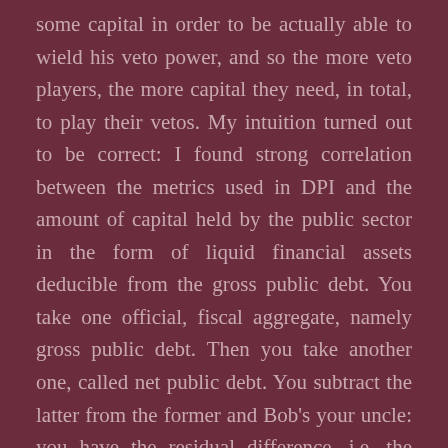some capital in order to be actually able to wield his veto power, and so the more veto players, the more capital they need, in total, to play their vetos. My intuition turned out to be correct: I found strong correlation between the metrics used in DPI and the amount of capital held by the public sector in the form of liquid financial assets deducible from the gross public debt. You take one official, fiscal aggregate, namely gross public debt. Then you take another one, called net public debt. You subtract the latter from the former and Bob's your uncle: you have the residual difference, i.e. the financial assets possible to interpret as claims on the rest of the world. The amount of those claims in the balance sheet of public debt is strongly and positively correlated with the amount of political